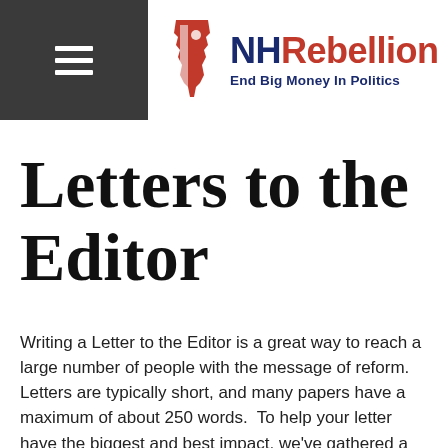[Figure (logo): NHRebellion logo with NH state silhouette in red/white/blue and text 'NHRebellion End Big Money In Politics'. A hamburger menu icon appears in a dark gray header bar on the left.]
Letters to the Editor
Writing a Letter to the Editor is a great way to reach a large number of people with the message of reform.  Letters are typically short, and many papers have a maximum of about 250 words.  To help your letter have the biggest and best impact, we've gathered a